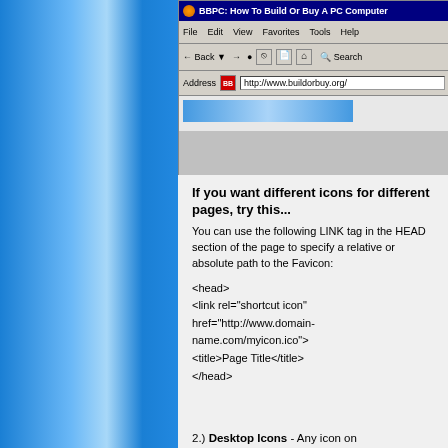[Figure (screenshot): Internet Explorer browser window showing BBPC: How To Build Or Buy A PC Computer website at http://www.buildorbuy.org/ with a blue loading bar visible in the content area]
If you want different icons for different pages, try this...
You can use the following LINK tag in the HEAD section of the page to specify a relative or absolute path to the Favicon:
<head>
<link rel="shortcut icon"
href="http://www.domain-name.com/myicon.ico">
<title>Page Title</title>
</head>
2.) Desktop Icons - Any icon on